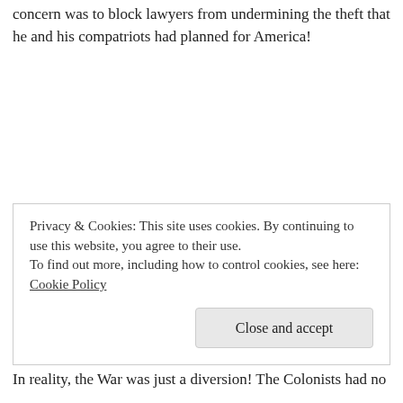concern was to block lawyers from undermining the theft that he and his compatriots had planned for America!
Once the cost of the Revolutionary War sufficiently placed the Colonists in debt; the English soldiers were ordered to dispense with their efforts, recover their arms and within the next eight years they eventually returned to England. The Colonists were so glad to see the fighting stop; that they allowed the soldiers to retreat and exit America peacefully. There is an old legal Maxim
Privacy & Cookies: This site uses cookies. By continuing to use this website, you agree to their use.
To find out more, including how to control cookies, see here: Cookie Policy
Close and accept
In reality, the War was just a diversion! The Colonists had no